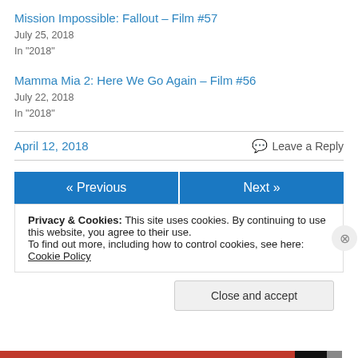Mission Impossible: Fallout – Film #57
July 25, 2018
In "2018"
Mamma Mia 2: Here We Go Again – Film #56
July 22, 2018
In "2018"
April 12, 2018
Leave a Reply
« Previous
Next »
Privacy & Cookies: This site uses cookies. By continuing to use this website, you agree to their use.
To find out more, including how to control cookies, see here: Cookie Policy
Close and accept